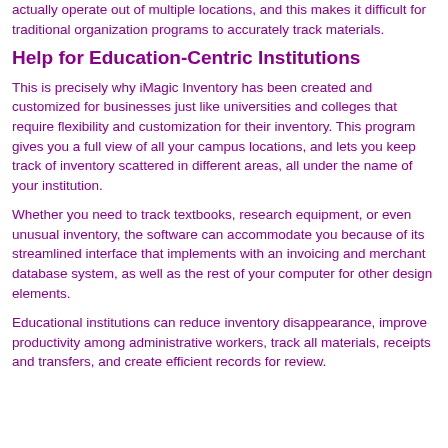actually operate out of multiple locations, and this makes it difficult for traditional organization programs to accurately track materials.
Help for Education-Centric Institutions
This is precisely why iMagic Inventory has been created and customized for businesses just like universities and colleges that require flexibility and customization for their inventory. This program gives you a full view of all your campus locations, and lets you keep track of inventory scattered in different areas, all under the name of your institution.
Whether you need to track textbooks, research equipment, or even unusual inventory, the software can accommodate you because of its streamlined interface that implements with an invoicing and merchant database system, as well as the rest of your computer for other design elements.
Educational institutions can reduce inventory disappearance, improve productivity among administrative workers, track all materials, receipts and transfers, and create efficient records for review.